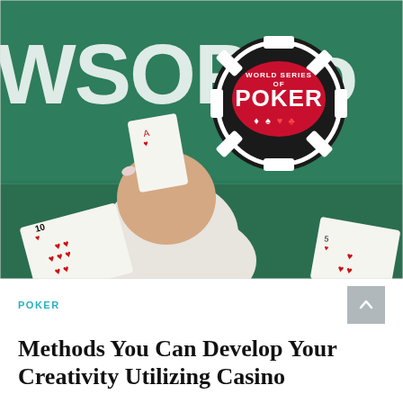[Figure (photo): A photograph of a poker table at the World Series of Poker (WSOP). A person's hand in a white sleeve is picking up or placing playing cards on a green felt table. A large black-and-white World Series of Poker chip is visible in the background. The WSOP.com logo text is visible in white on the green table. Playing cards including a 10 of hearts are visible on the table.]
POKER
Methods You Can Develop Your Creativity Utilizing Casino